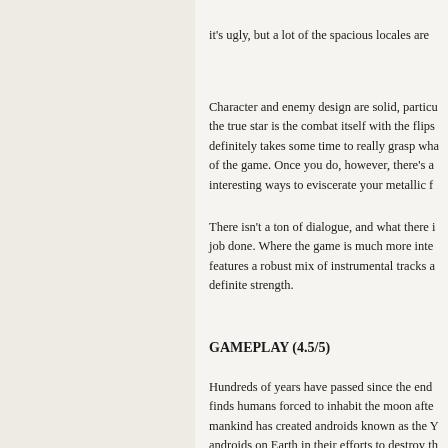it's ugly, but a lot of the spacious locales are
Character and enemy design are solid, particu the true star is the combat itself with the flips definitely takes some time to really grasp wha of the game. Once you do, however, there's a interesting ways to eviscerate your metallic f
There isn't a ton of dialogue, and what there job done. Where the game is much more inte features a robust mix of instrumental tracks a definite strength.
GAMEPLAY (4.5/5)
Hundreds of years have passed since the end finds humans forced to inhabit the moon afte mankind has created androids known as the Y androids on Earth in their efforts to destroy th YoRHa units 2B (that's you) and 9S are sent.